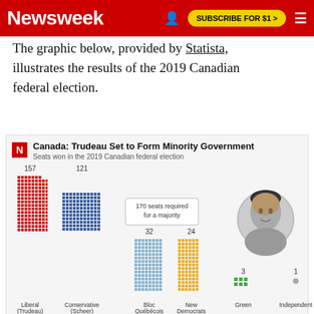Newsweek  SUBSCRIBE FOR $1 >
The graphic below, provided by Statista, illustrates the results of the 2019 Canadian federal election.
[Figure (bar-chart): Canada: Trudeau Set to Form Minority Government]